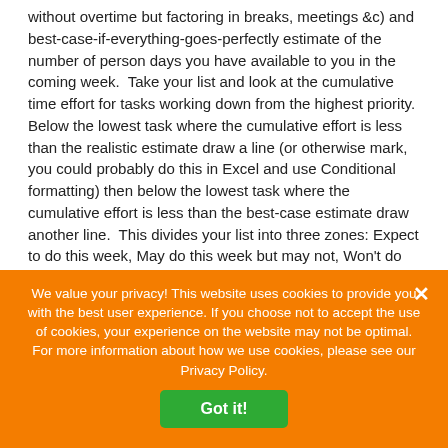without overtime but factoring in breaks, meetings &c) and best-case-if-everything-goes-perfectly estimate of the number of person days you have available to you in the coming week.  Take your list and look at the cumulative time effort for tasks working down from the highest priority.  Below the lowest task where the cumulative effort is less than the realistic estimate draw a line (or otherwise mark, you could probably do this in Excel and use Conditional formatting) then below the lowest task where the cumulative effort is less than the best-case estimate draw another line.  This divides your list into three zones: Expect to do this week, May do this week but may not, Won't do this week.  e.g.
We value your privacy! This website uses cookies to provide you with the best user experience. If you choose not to accept the use of cookies, your experience on the website may not be optimal. For more information about how we use cookies, please see our Privacy Policy.
Got it!